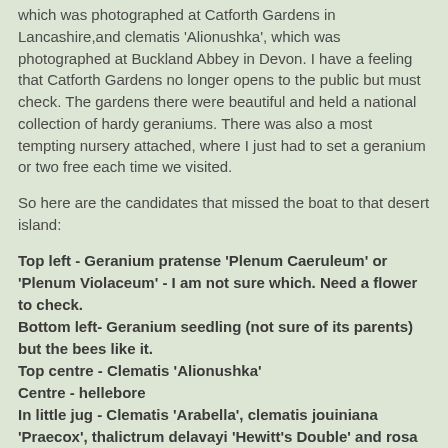which was photographed at Catforth Gardens in Lancashire,and clematis 'Alionushka', which was photographed at Buckland Abbey in Devon. I have a feeling that Catforth Gardens no longer opens to the public but must check. The gardens there were beautiful and held a national collection of hardy geraniums. There was also a most tempting nursery attached, where I just had to set a geranium or two free each time we visited.
So here are the candidates that missed the boat to that desert island:
Top left - Geranium pratense 'Plenum Caeruleum' or 'Plenum Violaceum' - I am not sure which. Need a flower to check.
Bottom left- Geranium seedling (not sure of its parents) but the bees like it.
Top centre - Clematis 'Alionushka'
Centre - hellebore
In little jug - Clematis 'Arabella', clematis jouiniana 'Praecox', thalictrum delavayi 'Hewitt's Double' and rosa 'The Fairy'.